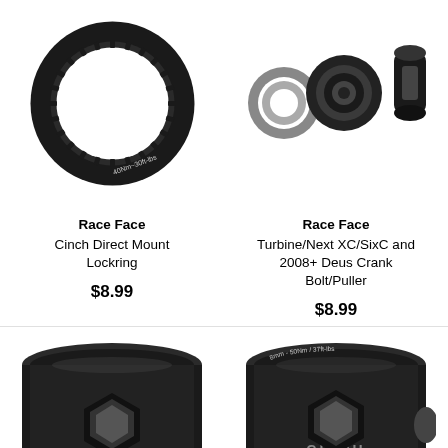[Figure (photo): Race Face Cinch Direct Mount Lockring - black circular lockring with serrated inner edge, engraved 40Nm~30ft-lbs]
Race Face
Cinch Direct Mount Lockring
$8.99
[Figure (photo): Race Face Turbine/Next XC/SixC and 2008+ Deus Crank Bolt/Puller - three piece set: gray washer ring, black socket cap, black threaded insert]
Race Face
Turbine/Next XC/SixC and 2008+ Deus Crank Bolt/Puller
$8.99
[Figure (photo): Bottom tool photo (left) - black hex socket tool, partially visible, cropped]
[Figure (photo): Bottom tool photo (right) - Race Face CINCH black socket tool with 8mm-50Nm/37ft-lbs engraving, partially visible, cropped]